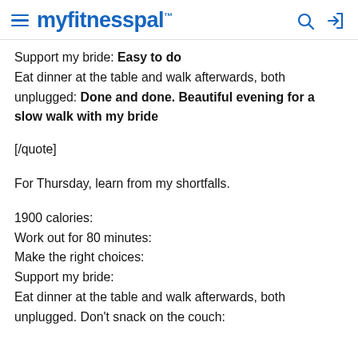myfitnesspal
Support my bride: Easy to do
Eat dinner at the table and walk afterwards, both unplugged: Done and done. Beautiful evening for a slow walk with my bride
[/quote]
For Thursday, learn from my shortfalls.
1900 calories:
Work out for 80 minutes:
Make the right choices:
Support my bride:
Eat dinner at the table and walk afterwards, both unplugged. Don’t snack on the couch: